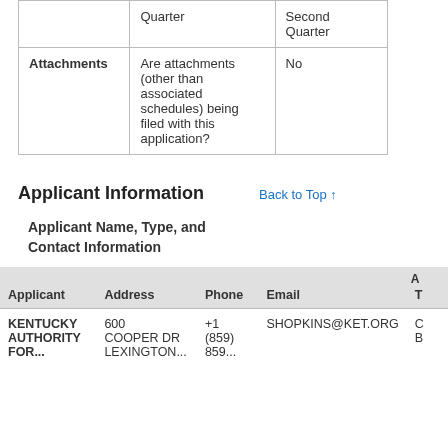|  | Quarter | Second Quarter |
| --- | --- | --- |
| Attachments | Are attachments (other than associated schedules) being filed with this application? | No |
Applicant Information
Back to Top ↑
Applicant Name, Type, and Contact Information
| Applicant | Address | Phone | Email | A T |
| --- | --- | --- | --- | --- |
| KENTUCKY AUTHORITY FOR... | 600 COOPER DR LEXINGTON... | +1 (859) 859... | SHOPKINS@KET.ORG | C B |